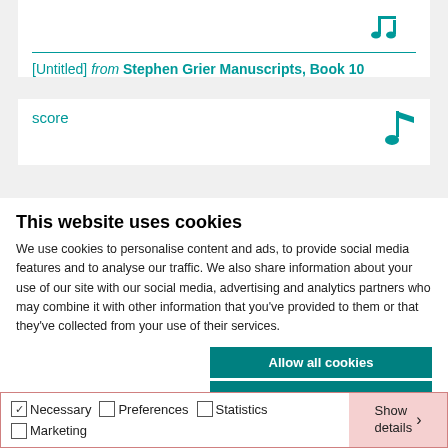[Figure (illustration): Music note icons (two eighth notes) in teal color, top right of card]
[Untitled] from Stephen Grier Manuscripts, Book 10
score
[Figure (illustration): Single music note icon in teal color, right side of score card]
This website uses cookies
We use cookies to personalise content and ads, to provide social media features and to analyse our traffic. We also share information about your use of our site with our social media, advertising and analytics partners who may combine it with other information that you've provided to them or that they've collected from your use of their services.
Allow all cookies
Allow selection
Use necessary cookies only
Necessary   Preferences   Statistics   Marketing   Show details